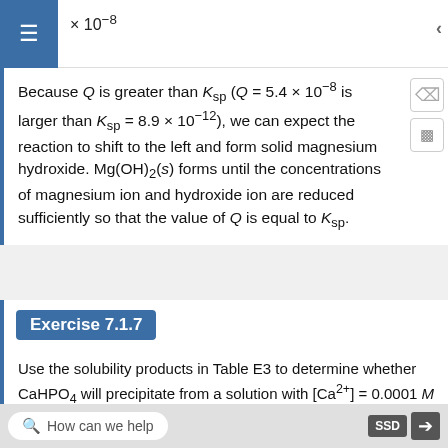Because Q is greater than K_sp (Q = 5.4 × 10⁻⁸ is larger than K_sp = 8.9 × 10⁻¹²), we can expect the reaction to shift to the left and form solid magnesium hydroxide. Mg(OH)₂(s) forms until the concentrations of magnesium ion and hydroxide ion are reduced sufficiently so that the value of Q is equal to K_sp.
Exercise 7.1.7
Use the solubility products in Table E3 to determine whether CaHPO₄ will precipitate from a solution with [Ca²⁺] = 0.0001 M and [HPO₄²⁻] = 0.001 M.